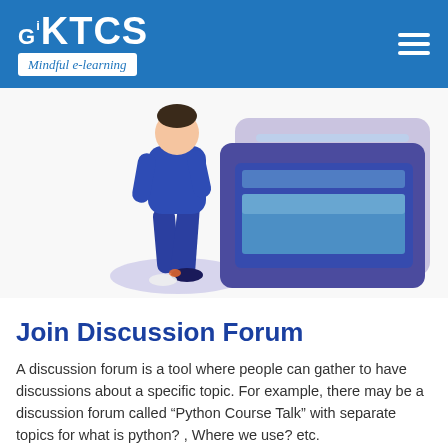GKTCS Mindful e-learning
[Figure (illustration): Isometric illustration of a person in blue walking toward a large digital screen/monitor with lines and a rectangular display element, with a light purple shadow beneath.]
Join Discussion Forum
A discussion forum is a tool where people can gather to have discussions about a specific topic. For example, there may be a discussion forum called “Python Course Talk” with separate topics for what is python? , Where we use? etc.